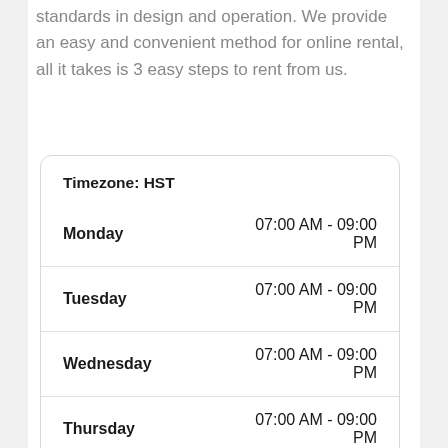standards in design and operation. We provide an easy and convenient method for online rental, all it takes is 3 easy steps to rent from us.
| Day | Hours |
| --- | --- |
| Monday | 07:00 AM - 09:00 PM |
| Tuesday | 07:00 AM - 09:00 PM |
| Wednesday | 07:00 AM - 09:00 PM |
| Thursday | 07:00 AM - 09:00 PM |
| Friday | 07:00 AM - 09:00 PM |
| Saturday | 07:00 AM - 09:00 PM |
| Sunday | 07:00 AM - 09:00 PM |